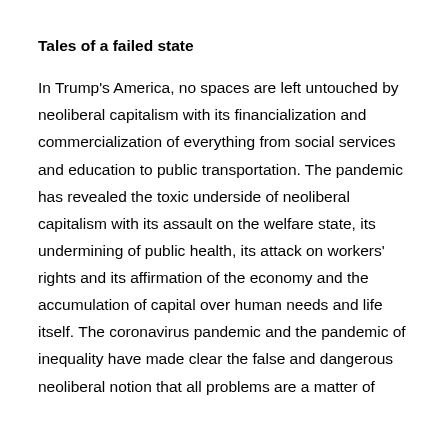Tales of a failed state
In Trump's America, no spaces are left untouched by neoliberal capitalism with its financialization and commercialization of everything from social services and education to public transportation. The pandemic has revealed the toxic underside of neoliberal capitalism with its assault on the welfare state, its undermining of public health, its attack on workers' rights and its affirmation of the economy and the accumulation of capital over human needs and life itself. The coronavirus pandemic and the pandemic of inequality have made clear the false and dangerous neoliberal notion that all problems are a matter of